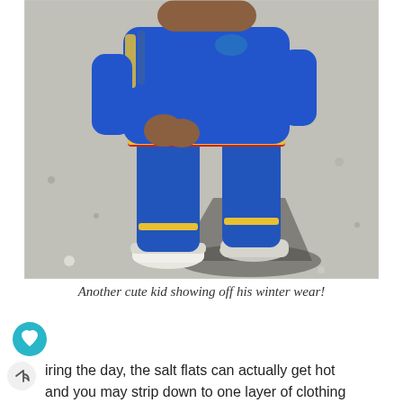[Figure (photo): A young child wearing a blue Nike tracksuit with yellow stripes and white sneakers, standing on a gravelly surface with a shadow cast to the right.]
Another cute kid showing off his winter wear!
iring the day, the salt flats can actually get hot and you may strip down to one layer of clothing